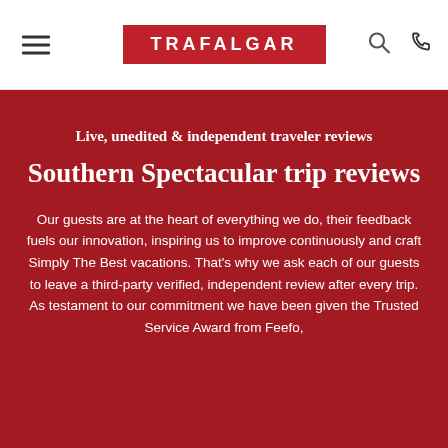TRAFALGAR
Live, unedited & independent traveler reviews
Southern Spectacular trip reviews
Our guests are at the heart of everything we do, their feedback fuels our innovation, inspiring us to improve continuously and craft Simply The Best vacations. That's why we ask each of our guests to leave a third-party verified, independent review after every trip. As testament to our commitment we have been given the Trusted Service Award from Feefo,